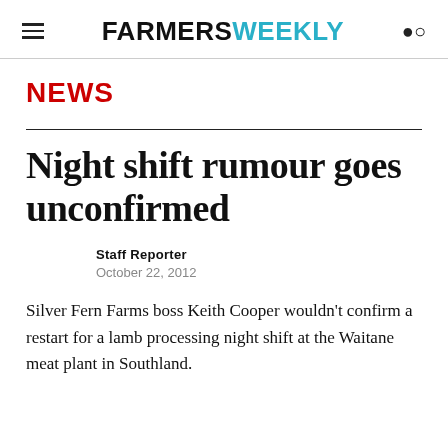FARMERS WEEKLY
NEWS
Night shift rumour goes unconfirmed
Staff Reporter
October 22, 2012
Silver Fern Farms boss Keith Cooper wouldn't confirm a restart for a lamb processing night shift at the Waitane meat plant in Southland.